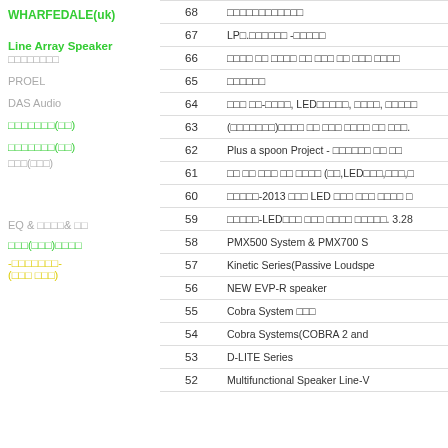WHARFEDALE(uk)
Line Array Speaker
□□□□□□□□
PROEL
DAS Audio
□□□□□□□(□□)
□□□□□□□(□□)
□□□(□□□)
EQ & □□□□& □□
□□□(□□□)□□□□
-□□□□□□□- (□□□ □□□)
| No. | Content |
| --- | --- |
| 68 | □□□□□□□□□□□□ |
| 67 | LP□.□□□□□□ -□□□□□ |
| 66 | □□□□ □□ □□□□ □□ □□□ □□ □□□ □□□□ |
| 65 | □□□□□□ |
| 64 | □□□ □□-□□□□, LED□□□□□, □□□□, □□□□□ |
| 63 | (□□□□□□□)□□□□ □□ □□□ □□□□ □□ □□□. |
| 62 | Plus a spoon Project - □□□□□□ □□ □□ |
| 61 | □□ □□ □□□ □□ □□□□ (□□,LED□□□,□□□,□ |
| 60 | □□□□□-2013 □□□ LED □□□ □□□ □□□□ □ |
| 59 | □□□□□-LED□□□ □□□ □□□□ □□□□□. 3.28 |
| 58 | PMX500 System & PMX700 S |
| 57 | Kinetic Series(Passive Loudspe |
| 56 | NEW EVP-R speaker |
| 55 | Cobra System □□□ |
| 54 | Cobra Systems(COBRA 2 and |
| 53 | D-LITE Series |
| 52 | Multifunctional Speaker Line-V |